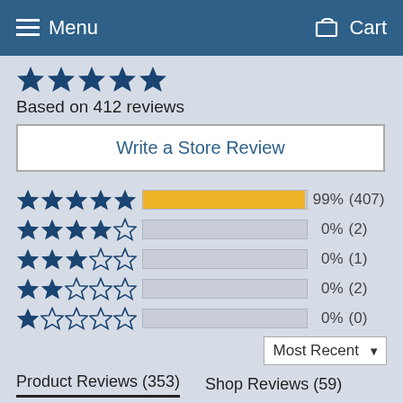Menu   Cart
[Figure (other): 5 filled dark blue stars rating]
Based on 412 reviews
Write a Store Review
[Figure (bar-chart): Rating distribution]
Most Recent
Product Reviews (353)   Shop Reviews (59)
C F.
(Longview, US)